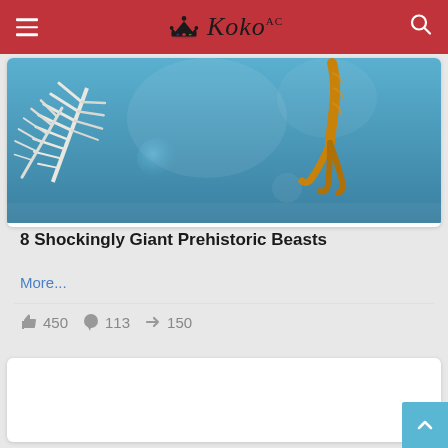Koko
[Figure (illustration): Underwater scene showing a prehistoric creature with feathery white appendages on the left and a golden/orange claw on the right, against a blue background]
8 Shockingly Giant Prehistoric Beasts
More...
👍 450   💬 113   ➤ 150
[Figure (other): Partially visible second article card, content not visible]